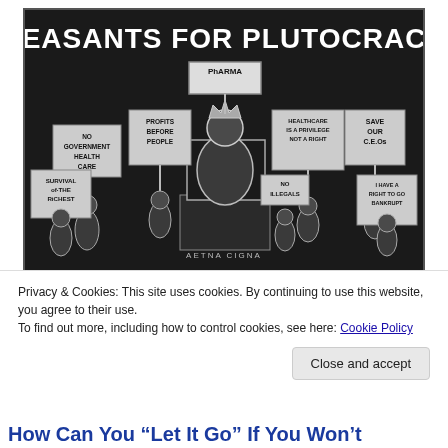[Figure (illustration): Black and white woodcut-style illustration titled 'PEASANTS FOR PLUTOCRACY'. A large crowned figure labeled 'PhARMA' sits on a throne. Surrounding figures hold signs reading: 'NO GOVERNMENT HEALTH CARE', 'PROFITS BEFORE PEOPLE', 'HEALTHCARE IS A PRIVILEGE NOT A RIGHT', 'SAVE OUR CEOs', 'SURVIVAL OF THE RICHEST', 'NO ILLEGALS', 'I HAVE A RIGHT TO GO BANKRUPT'. Base of throne reads 'AETNA CIGNA'.]
Privacy & Cookies: This site uses cookies. By continuing to use this website, you agree to their use.
To find out more, including how to control cookies, see here: Cookie Policy
Close and accept
How Can You “Let It Go” If You Won’t